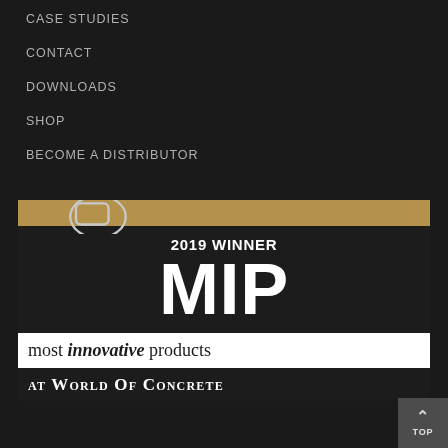CASE STUDIES
CONTACT
DOWNLOADS
SHOP
BECOME A DISTRIBUTOR
[Figure (logo): 2019 Winner MIP Most Innovative Products at World of Concrete award badge. Dark background with large white MIP letters, a tan/gold top bar with a YouTube-style tube icon, a white band reading 'most innovative products', and a dark band reading 'AT WORLD OF CONCRETE'.]